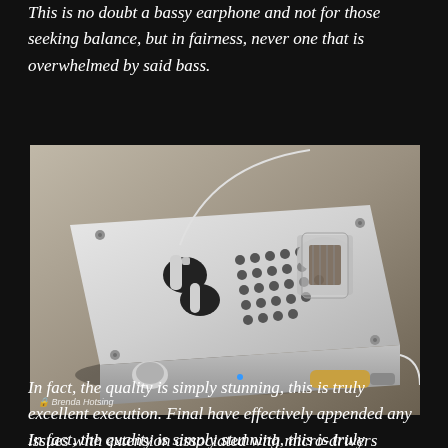This is no doubt a bassy earphone and not for those seeking balance, but in fairness, never one that is overwhelmed by said bass.
[Figure (photo): A silver metal tube amplifier/DAC device with vacuum tube visible on top, earphones placed on it, and a cable with gold connector, photographed on a tan/beige fabric background. Watermark reads '© Brenda Hosting'.]
In fact, the quality is simply stunning, this is truly excellent execution. Final have effectively appended any issues with extension associated with micro-drivers